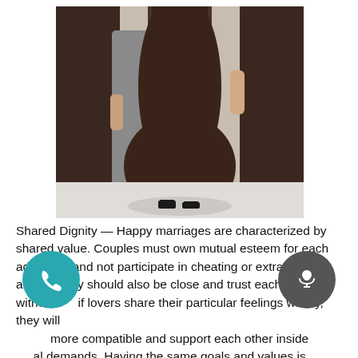[Figure (photo): A fashion model from waist down wearing a flowing dark brown wide-leg garment and black strappy sandals, walking on a light floor with dark fabric draping in the background.]
Shared Dignity — Happy marriages are characterized by shared value. Couples must own mutual esteem for each additional and not participate in cheating or extramarital affairs. They should also be close and trust each other without f... if lovers share their particular feelings widely, they will more compatible and support each other inside al demands. Having the same goals and values is essential for a happy marriage, so do not generate yours